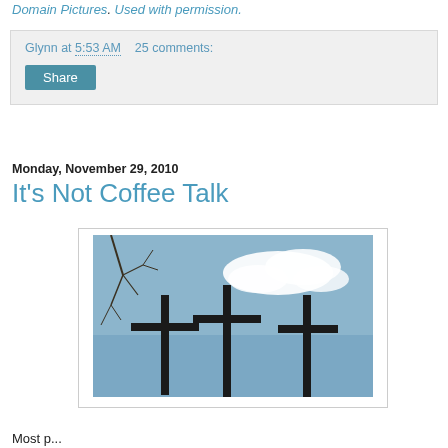Domain Pictures. Used with permission.
Glynn at 5:53 AM    25 comments:
Share
Monday, November 29, 2010
It's Not Coffee Talk
[Figure (photo): Three dark wooden crosses against a blue sky with a white cloud and bare tree branches visible in the upper left.]
Most p...